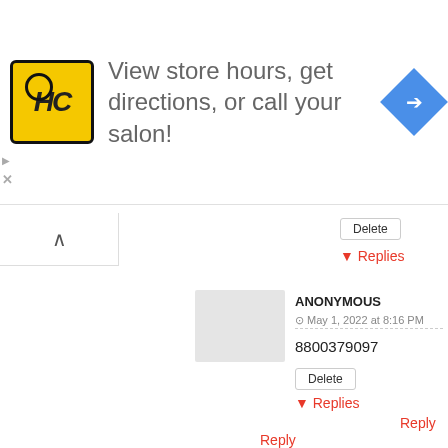[Figure (other): HC salon advertisement banner with logo, text 'View store hours, get directions, or call your salon!', and navigation arrow icon]
Delete
▼ Replies
Reply
ANONYMOUS
May 1, 2022 at 8:16 PM
8800379097
Delete
▼ Replies
Reply
Reply
ANONYMOUS
April 28, 2022 at 11:53 PM
01859827990
Reply
Delete
▼ Replies
ANONYMOUS